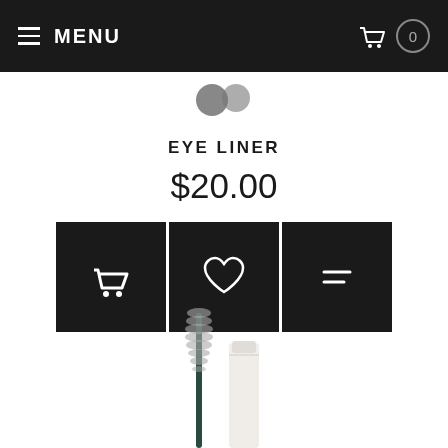MENU
EYE LINER
$20.00
[Figure (illustration): Three black square action buttons: shopping basket icon, heart/wishlist icon, and a compare/list icon]
[Figure (photo): Mascara wand applicator brush and a white mascara tube product photo]